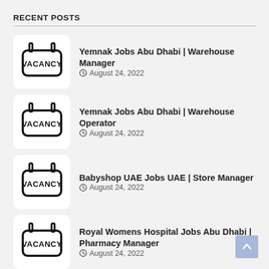RECENT POSTS
[Figure (illustration): Vacancy sign icon — a rectangular sign with two mounting tabs on top, labeled VACANCY in bold, with a thick rounded border]
Yemnak Jobs Abu Dhabi | Warehouse Manager
August 24, 2022
[Figure (illustration): Vacancy sign icon — a rectangular sign with two mounting tabs on top, labeled VACANCY in bold, with a thick rounded border]
Yemnak Jobs Abu Dhabi | Warehouse Operator
August 24, 2022
[Figure (illustration): Vacancy sign icon — a rectangular sign with two mounting tabs on top, labeled VACANCY in bold, with a thick rounded border]
Babyshop UAE Jobs UAE | Store Manager
August 24, 2022
[Figure (illustration): Vacancy sign icon — a rectangular sign with two mounting tabs on top, labeled VACANCY in bold, with a thick rounded border]
Royal Womens Hospital Jobs Abu Dhabi | Pharmacy Manager
August 24, 2022